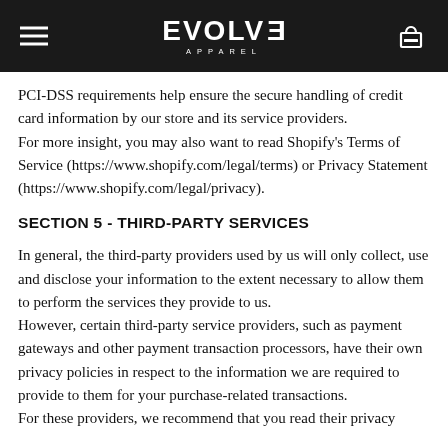EVOLV3 APPAREL
PCI-DSS requirements help ensure the secure handling of credit card information by our store and its service providers.
For more insight, you may also want to read Shopify’s Terms of Service (https://www.shopify.com/legal/terms) or Privacy Statement (https://www.shopify.com/legal/privacy).
SECTION 5 - THIRD-PARTY SERVICES
In general, the third-party providers used by us will only collect, use and disclose your information to the extent necessary to allow them to perform the services they provide to us.
However, certain third-party service providers, such as payment gateways and other payment transaction processors, have their own privacy policies in respect to the information we are required to provide to them for your purchase-related transactions.
For these providers, we recommend that you read their privacy